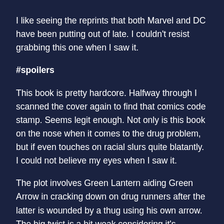I like seeing the reprints that both Marvel and DC have been putting out of late. I couldn't resist grabbing this one when I saw it.
#spoilers
This book is pretty hardcore. Halfway through I scanned the cover again to find that comics code stamp. Seems legit enough. Not only is this book on the nose when it comes to the drug problem, but if even touches on racial slurs quite blatantly. I could not believe my eyes when I saw it.
The plot involves Green Lantern aiding Green Arrow in cracking down on drug runners after the latter is wounded by a thug using his own arrow. The big twist is a bit weak considering it's plastered on the cover, that Arrow's ward, Speedy, is addicted to drugs, furthermore it's also the cliffhanger, which is a bit of an